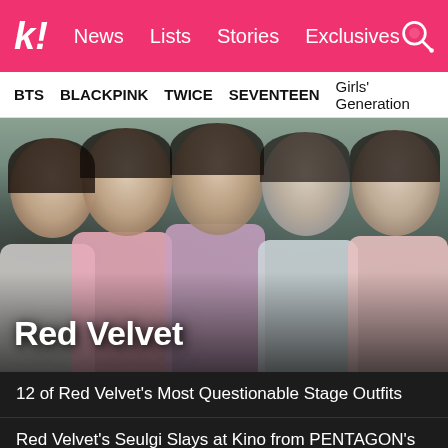k! News Lists Stories Exclusives
BTS BLACKPINK TWICE SEVENTEEN Girls' Generation
[Figure (photo): Group photo of Red Velvet (K-pop girl group), five women posing together wearing coats in shades of grey, pink, and cream, with blurred outdoor background. Large white bold text overlay reads 'Red Velvet'.]
Red Velvet
12 of Red Velvet's Most Questionable Stage Outfits
Red Velvet's Seulgi Slays at Kino from PENTAGON's #POSE_Challenge
TWICE's Nayeon And Red Velvet's Seulgi Wore The Same